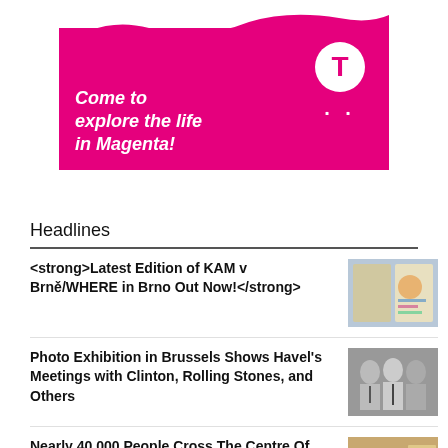[Figure (illustration): T-Mobile advertisement banner with magenta background, text 'Come to explore the life in Magenta!' in white italic bold font, and T-Mobile logo (white T in circle with dots) on the right. Top portion shows partial image of a person and chocolate/food items.]
Headlines
<strong>Latest Edition of KAM v Brně/WHERE in Brno Out Now!</strong>
Photo Exhibition in Brussels Shows Havel's Meetings with Clinton, Rolling Stones, and Others
Nearly 40,000 People Cross The Centre Of Brno Every Day
Czech Politicians Praise Gorbachev's Role In